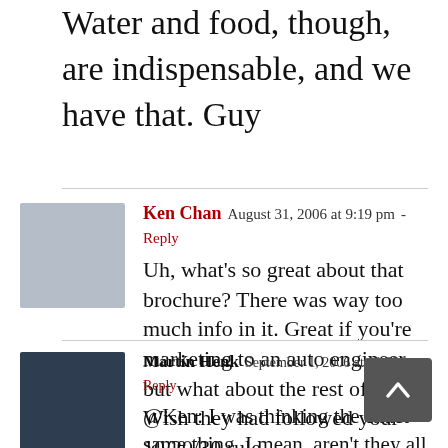Water and food, though, are indispensable, and we have that. Guy
Ken Chan  August 31, 2006 at 9:19 pm - Reply
Uh, what's so great about that brochure? There was way too much info in it. Great if you're marketing to an auto engineer, but what about the rest of us? Wish they had followed your 10/20/30 rule.
Martin Henk  September 1, 2006 at 12:03 am - Reply
@Ken: I was thinking the exact same thing. I mean, aren't they all like this?